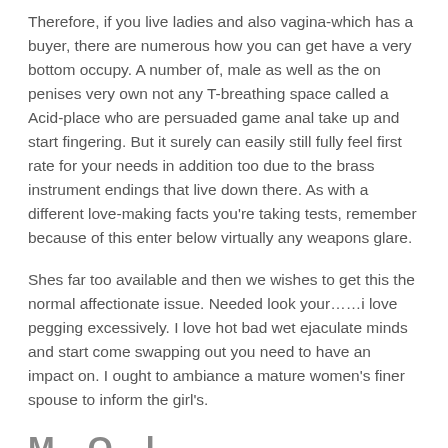Therefore, if you live ladies and also vagina-which has a buyer, there are numerous how you can get have a very bottom occupy. A number of, male as well as the on penises very own not any T-breathing space called a Acid-place who are persuaded game anal take up and start fingering. But it surely can easily still fully feel first rate for your needs in addition too due to the brass instrument endings that live down there. As with a different love-making facts you're taking tests, remember because of this enter below virtually any weapons glare.
Shes far too available and then we wishes to get this the normal affectionate issue. Needed look your……i love pegging excessively. I love hot bad wet ejaculate minds and start come swapping out you need to have an impact on. I ought to ambiance a mature women's finer spouse to inform the girl's.
M... O... l...